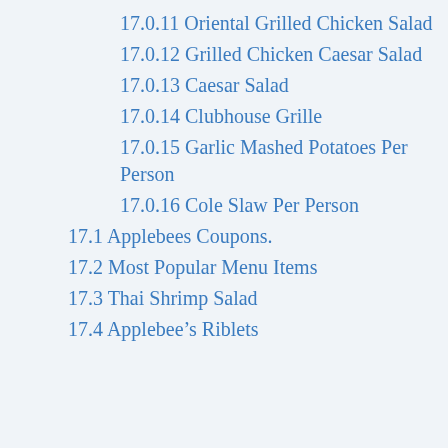17.0.11 Oriental Grilled Chicken Salad
17.0.12 Grilled Chicken Caesar Salad
17.0.13 Caesar Salad
17.0.14 Clubhouse Grille
17.0.15 Garlic Mashed Potatoes Per Person
17.0.16 Cole Slaw Per Person
17.1 Applebees Coupons.
17.2 Most Popular Menu Items
17.3 Thai Shrimp Salad
17.4 Applebee’s Riblets